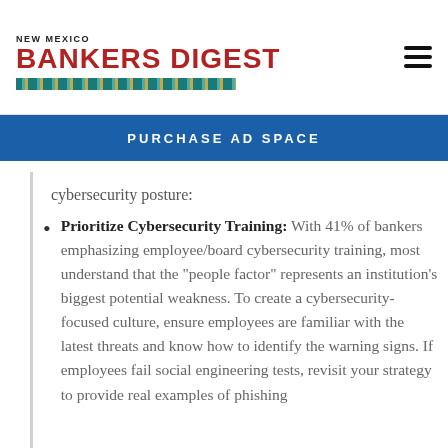NEW MEXICO BANKERS DIGEST
PURCHASE AD SPACE
cybersecurity posture:
Prioritize Cybersecurity Training: With 41% of bankers emphasizing employee/board cybersecurity training, most understand that the “people factor” represents an institution’s biggest potential weakness. To create a cybersecurity-focused culture, ensure employees are familiar with the latest threats and know how to identify the warning signs. If employees fail social engineering tests, revisit your strategy to provide real examples of phishing